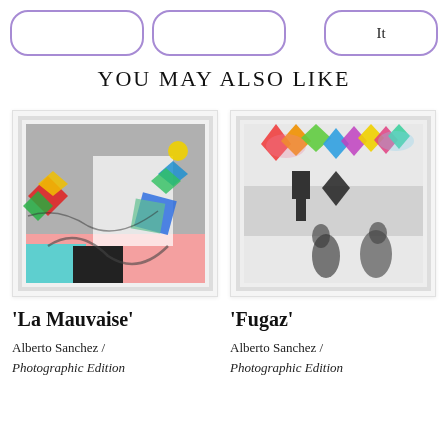[Figure (other): Three rounded-rectangle button outlines at top of page; rightmost contains text 'It']
YOU MAY ALSO LIKE
[Figure (photo): Framed abstract artwork 'La Mauvaise' with colorful geometric shapes on mixed grey and pink background]
[Figure (photo): Framed photographic artwork 'Fugaz' showing blurred pedestrians crossing street with colorful flags/kite shapes overhead]
'La Mauvaise'
'Fugaz'
Alberto Sanchez / Photographic Edition
Alberto Sanchez / Photographic Edition